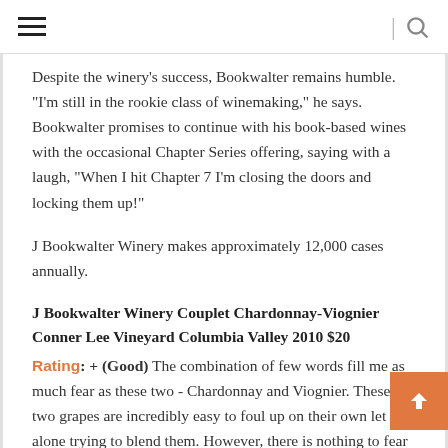Navigation header with hamburger menu and search icon
Despite the winery’s success, Bookwalter remains humble. “I’m still in the rookie class of winemaking,” he says. Bookwalter promises to continue with his book-based wines with the occasional Chapter Series offering, saying with a laugh, “When I hit Chapter 7 I’m closing the doors and locking them up!”
J Bookwalter Winery makes approximately 12,000 cases annually.
J Bookwalter Winery Couplet Chardonnay-Viognier Conner Lee Vineyard Columbia Valley 2010 $20
Rating: + (Good) The combination of few words fill me as much fear as these two - Chardonnay and Viognier. These two grapes are incredibly easy to foul up on their own let alone trying to blend them. However, there is nothing to fear